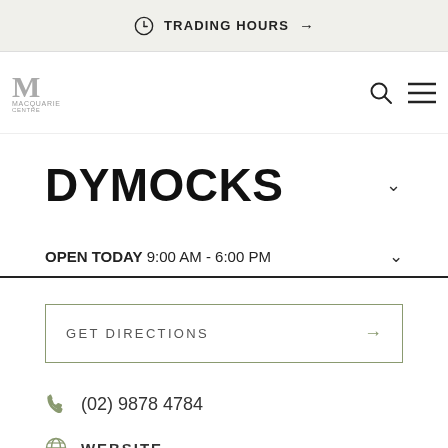TRADING HOURS →
[Figure (logo): Macquarie Centre logo with stylized M and text 'Macquarie Centre']
DYMOCKS
OPEN TODAY 9:00 AM - 6:00 PM
GET DIRECTIONS →
(02) 9878 4784
WEBSITE